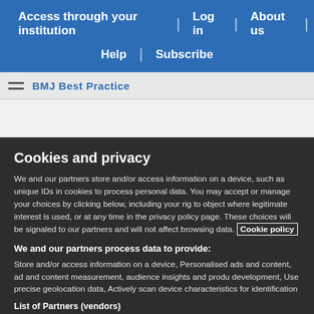Access through your institution | Log in | About us | Help | Subscribe
Cookies and privacy
We and our partners store and/or access information on a device, such as unique IDs in cookies to process personal data. You may accept or manage your choices by clicking below, including your rig to object where legitimate interest is used, or at any time in the privacy policy page. These choices will be signaled to our partners and will not affect browsing data. Cookie policy
We and our partners process data to provide:
Store and/or access information on a device, Personalised ads and content, ad and content measurement, audience insights and produ development, Use precise geolocation data, Actively scan device characteristics for identification
List of Partners (vendors)